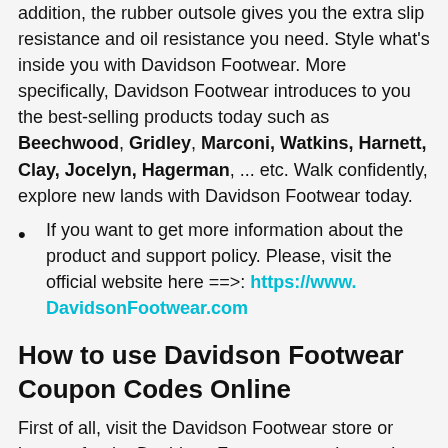addition, the rubber outsole gives you the extra slip resistance and oil resistance you need. Style what's inside you with Davidson Footwear. More specifically, Davidson Footwear introduces to you the best-selling products today such as Beechwood, Gridley, Marconi, Watkins, Harnett, Clay, Jocelyn, Hagerman, ... etc. Walk confidently, explore new lands with Davidson Footwear today.
If you want to get more information about the product and support policy. Please, visit the official website here ==>: https://www.DavidsonFootwear.com
How to use Davidson Footwear Coupon Codes Online
First of all, visit the Davidson Footwear store or browse for the Davidson Footwear voucher codes on the search box. Then choose the best Davidson